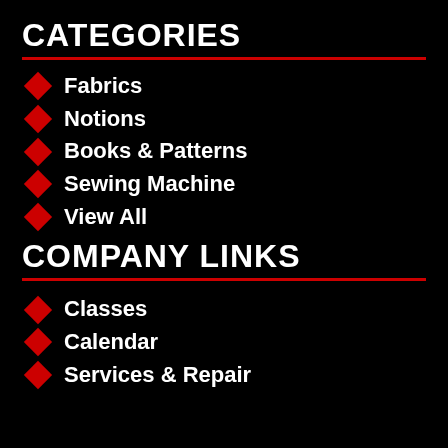CATEGORIES
Fabrics
Notions
Books & Patterns
Sewing Machine
View All
COMPANY LINKS
Classes
Calendar
Services & Repair